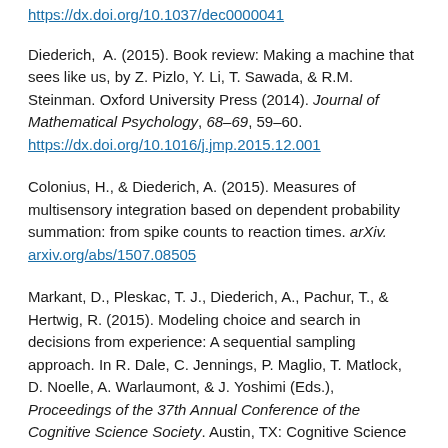https://dx.doi.org/10.1037/dec0000041
Diederich, A. (2015). Book review: Making a machine that sees like us, by Z. Pizlo, Y. Li, T. Sawada, & R.M. Steinman. Oxford University Press (2014). Journal of Mathematical Psychology, 68–69, 59–60. https://dx.doi.org/10.1016/j.jmp.2015.12.001
Colonius, H., & Diederich, A. (2015). Measures of multisensory integration based on dependent probability summation: from spike counts to reaction times. arXiv. arxiv.org/abs/1507.08505
Markant, D., Pleskac, T. J., Diederich, A., Pachur, T., & Hertwig, R. (2015). Modeling choice and search in decisions from experience: A sequential sampling approach. In R. Dale, C. Jennings, P. Maglio, T. Matlock, D. Noelle, A. Warlaumont, & J. Yoshimi (Eds.), Proceedings of the 37th Annual Conference of the Cognitive Science Society. Austin, TX: Cognitive Science